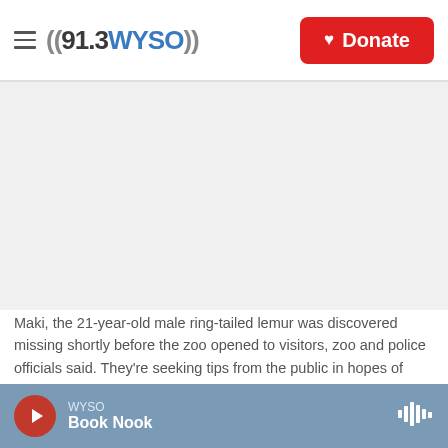((91.3 WYSO)) Donate
[Figure (photo): Photograph area (image of lemur or related visual, shown as light gray placeholder)]
Maki, the 21-year-old male ring-tailed lemur was discovered missing shortly before the zoo opened to visitors, zoo and police officials said. They're seeking tips from the public in hopes of finding the lemur, explaining that Maki is an endangered animal that requires specialized care.
An endangered 21-year-old lemur is missing, and
WYSO — Book Nook